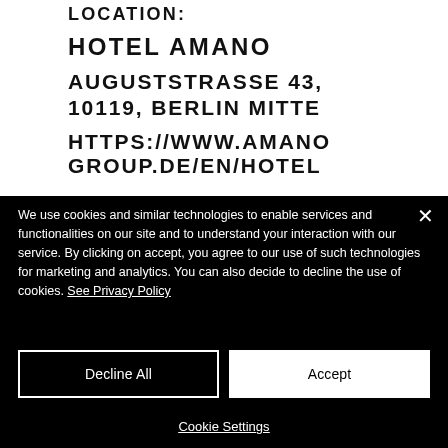LOCATION:
HOTEL AMANO
AUGUSTSTRASSE 43, 10119, BERLIN MITTE
HTTPS://WWW.AMANO GROUP.DE/EN/HOTEL...
We use cookies and similar technologies to enable services and functionalities on our site and to understand your interaction with our service. By clicking on accept, you agree to our use of such technologies for marketing and analytics. You can also decide to decline the use of cookies. See Privacy Policy
Decline All
Accept
Cookie Settings